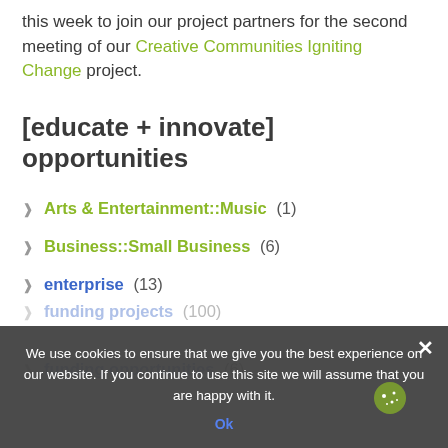this week to join our project partners for the second meeting of our Creative Communities Igniting Change project.
[educate + innovate] opportunities
Arts & Entertainment::Music (1)
Business::Small Business (6)
enterprise (13)
funding projects (100)
funding opportunities (6)
We use cookies to ensure that we give you the best experience on our website. If you continue to use this site we will assume that you are happy with it. Ok